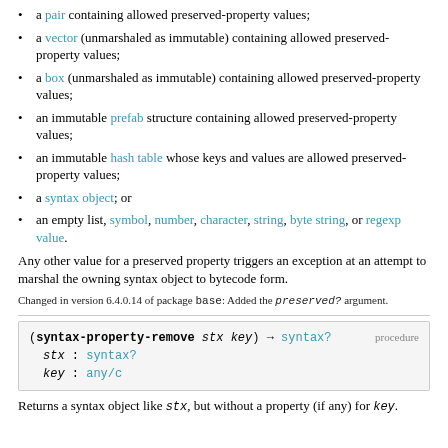a pair containing allowed preserved-property values;
a vector (unmarshaled as immutable) containing allowed preserved-property values;
a box (unmarshaled as immutable) containing allowed preserved-property values;
an immutable prefab structure containing allowed preserved-property values;
an immutable hash table whose keys and values are allowed preserved-property values;
a syntax object; or
an empty list, symbol, number, character, string, byte string, or regexp value.
Any other value for a preserved property triggers an exception at an attempt to marshal the owning syntax object to bytecode form.
Changed in version 6.4.0.14 of package base: Added the preserved? argument.
(syntax-property-remove stx key) → syntax?
  stx : syntax?
  key : any/c
procedure
Returns a syntax object like stx, but without a property (if any) for key.